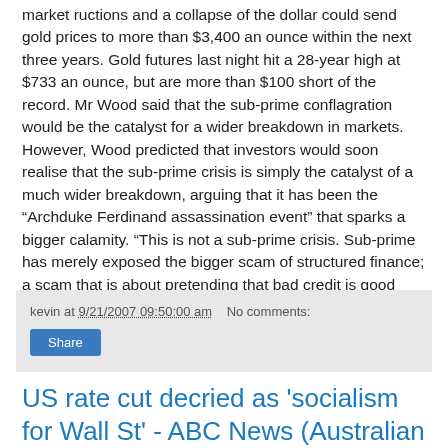market ructions and a collapse of the dollar could send gold prices to more than $3,400 an ounce within the next three years. Gold futures last night hit a 28-year high at $733 an ounce, but are more than $100 short of the record. Mr Wood said that the sub-prime conflagration would be the catalyst for a wider breakdown in markets. However, Wood predicted that investors would soon realise that the sub-prime crisis is simply the catalyst of a much wider breakdown, arguing that it has been the “Archduke Ferdinand assassination event” that sparks a bigger calamity. “This is not a sub-prime crisis. Sub-prime has merely exposed the bigger scam of structured finance; a scam that is about pretending that bad credit is good credit,” he said”
kevin at 9/21/2007 09:50:00 am   No comments:
US rate cut decried as 'socialism for Wall St' - ABC News (Australian